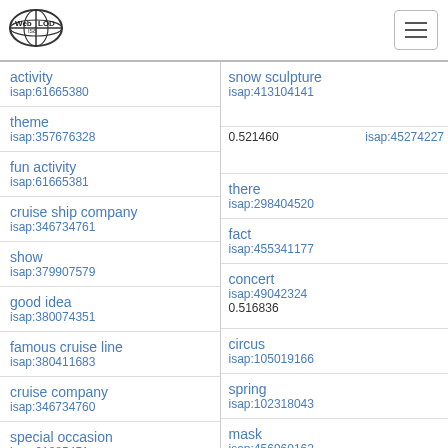[Figure (logo): Web ISA LOD logo with globe icon]
| term | isap id |
| --- | --- |
| activity | isap:61665380 |
| theme | isap:357676328 |
| fun activity | isap:61665381 |
| cruise ship company | isap:346734761 |
| show | isap:379907579 |
| good idea | isap:380074351 |
| famous cruise line | isap:380411683 |
| cruise company | isap:346734760 |
| special occasion | isap:61885451 |
| term | isap id |
| --- | --- |
| snow sculpture | isap:413104141 |
| 0.521460 |  |
|  | isap:45274227 |
| there | isap:298404520 |
| fact | isap:455341177 |
| concert | isap:49042324 |
| 0.516836 |  |
| circus | isap:105019166 |
| spring | isap:102318043 |
| mask | isap:456960162 |
| 0.509191 |  |
| car | isap:331203509 |
| 0.509055 |  |
| day | isap:329000345 |